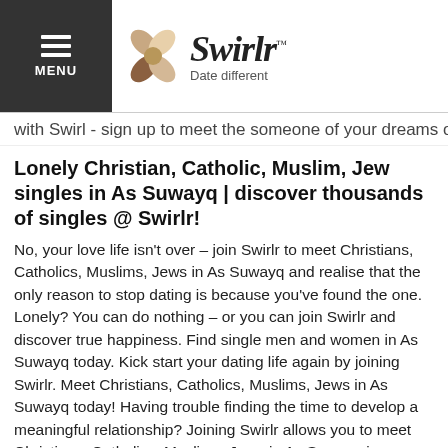Swirlr – Date different
with Swirl - sign up to meet the someone of your dreams online.
Lonely Christian, Catholic, Muslim, Jew singles in As Suwayq | discover thousands of singles @ Swirlr!
No, your love life isn't over – join Swirlr to meet Christians, Catholics, Muslims, Jews in As Suwayq and realise that the only reason to stop dating is because you've found the one. Lonely? You can do nothing – or you can join Swirlr and discover true happiness. Find single men and women in As Suwayq today. Kick start your dating life again by joining Swirlr. Meet Christians, Catholics, Muslims, Jews in As Suwayq today! Having trouble finding the time to develop a meaningful relationship? Joining Swirlr allows you to meet Christians, Catholics, Muslims, Jews in As Suwayq in your own time.